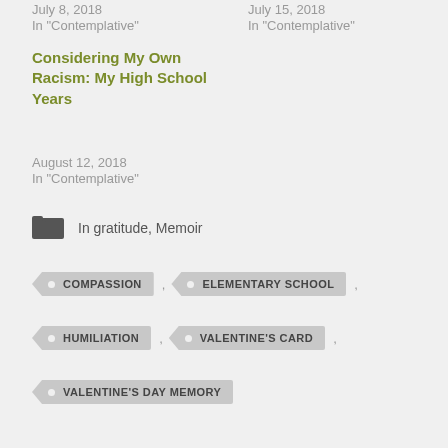July 8, 2018
In "Contemplative"
July 15, 2018
In "Contemplative"
Considering My Own Racism: My High School Years
August 12, 2018
In "Contemplative"
In gratitude, Memoir
COMPASSION
ELEMENTARY SCHOOL
HUMILIATION
VALENTINE'S CARD
VALENTINE'S DAY MEMORY